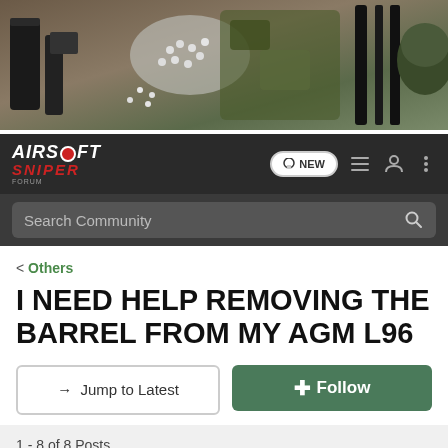[Figure (photo): Banner photo showing airsoft equipment including magazines, BBs in a bag, and other gear on a textured surface]
Airsoft Sniper Forum — navigation bar with logo, NEW button, list icon, user icon, and menu icon; search bar with 'Search Community' placeholder
< Others
I NEED HELP REMOVING THE BARREL FROM MY AGM L96
→ Jump to Latest
+ Follow
1 - 8 of 8 Posts